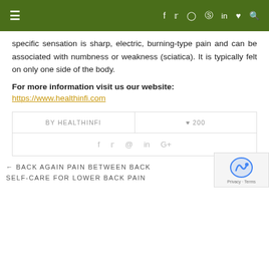Navigation bar with menu, social icons
specific sensation is sharp, electric, burning-type pain and can be associated with numbness or weakness (sciatica). It is typically felt on only one side of the body.
For more information visit us our website:
https://www.healthinfi.com
| BY HEALTHINFI | ♥ 200 |
| --- | --- |
| f  t  @  in  G+ |  |
← BACK AGAIN PAIN BETWEEN BACK
SELF-CARE FOR LOWER BACK PAIN